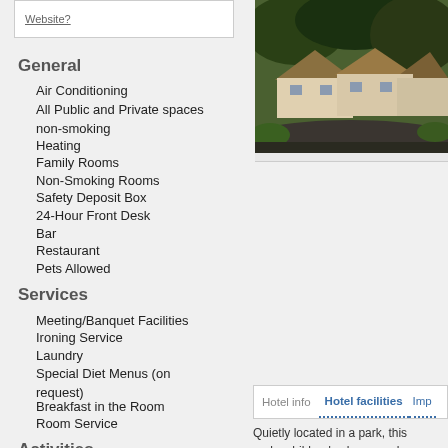Website?
General
Air Conditioning
All Public and Private spaces non-smoking
Heating
Family Rooms
Non-Smoking Rooms
Safety Deposit Box
24-Hour Front Desk
Bar
Restaurant
Pets Allowed
Services
Meeting/Banquet Facilities
Ironing Service
Laundry
Special Diet Menus (on request)
Breakfast in the Room
Room Service
Activities
Children's Playground
Internet Services
[Figure (photo): Exterior photo of a thatched-roof cottage or hotel building with greenery and a road in the foreground]
Hotel info
Hotel facilities
Imp
Quietly located in a park, this and a children's playground.